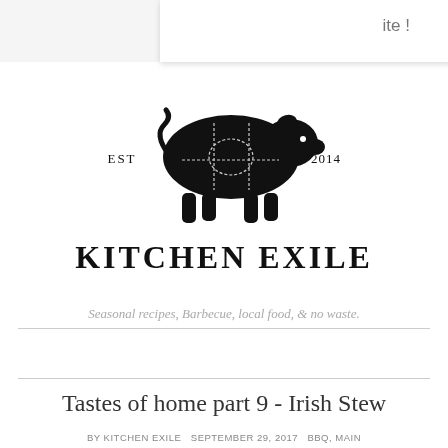ite !
[Figure (logo): Kitchen Exile logo: black silhouette of a pig with butcher cut lines, EST on the left, 2014 on the right, and KITCHEN EXILE in bold serif text below]
Seasonal recipes, Barbecue, local food, & no waste.
Tastes of home part 9 - Irish Stew
BY KITCHEN EXILE   SEPTEMBER 29, 2017   BBQ, MAIN